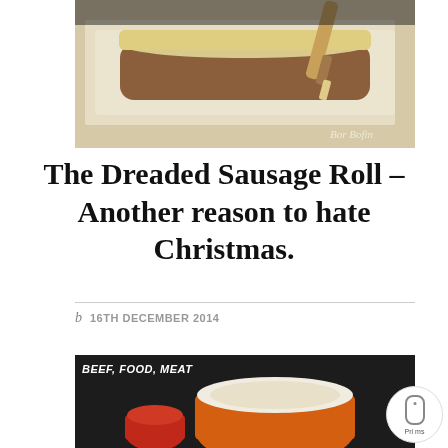[Figure (photo): Sausage roll being prepared — raw meat wrapped in pastry dough on a baking tray, being brushed with egg wash using a pastry brush. Watermark text 'Bor Bofin' visible.]
The Dreaded Sausage Roll – Another reason to hate Christmas.
b   16TH DECEMBER 2014
[Figure (photo): Dark background food photo showing orange Le Creuset cookware. Category tags overlay at top left: BEEF, FOOD, MEAT]